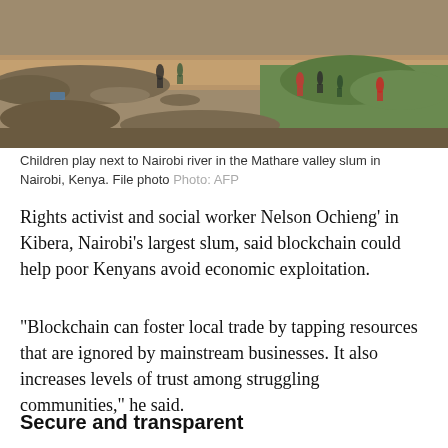[Figure (photo): Children playing next to the Nairobi river in the Mathare valley slum, Nairobi, Kenya. Aerial/distant view showing rocky riverbank, muddy water, debris, and green vegetation with several people visible.]
Children play next to Nairobi river in the Mathare valley slum in Nairobi, Kenya. File photo Photo: AFP
Rights activist and social worker Nelson Ochieng' in Kibera, Nairobi's largest slum, said blockchain could help poor Kenyans avoid economic exploitation.
"Blockchain can foster local trade by tapping resources that are ignored by mainstream businesses. It also increases levels of trust among struggling communities," he said.
Secure and transparent